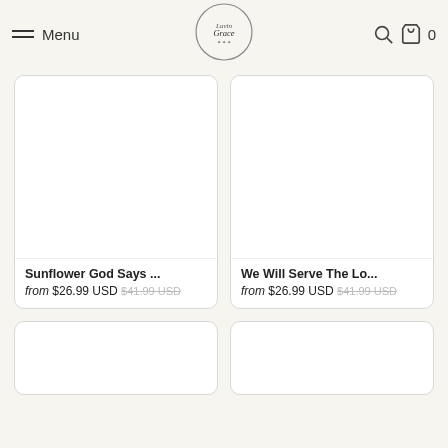Menu | LuvinGrace | Search | Cart 0
[Figure (screenshot): Product card: Sunflower God Says ... from $26.99 USD, original $41.99 USD]
[Figure (screenshot): Product card: We Will Serve The Lo... from $26.99 USD, original $41.99 USD]
[Figure (screenshot): Partial product card bottom row left]
[Figure (screenshot): Partial product card bottom row right]